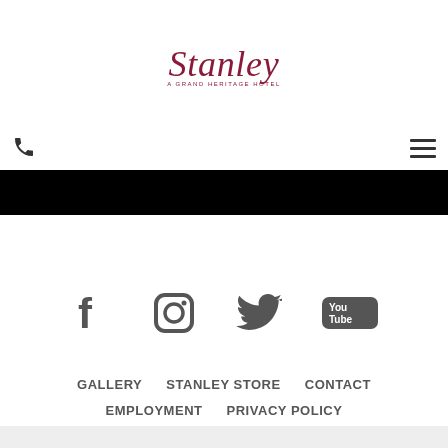[Figure (logo): Stanley Grand Heritage Hotel logo in dark red/maroon cursive script with subtitle text]
[Figure (infographic): Navigation bar with phone icon on left and hamburger menu icon on right]
[Figure (other): Black horizontal banner/image area]
[Figure (infographic): Social media icons: Facebook, Instagram, Twitter, YouTube in dark gray]
GALLERY
STANLEY STORE
CONTACT
EMPLOYMENT
PRIVACY POLICY